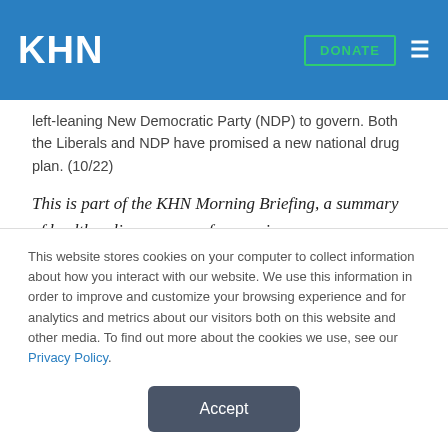KHN | DONATE
left-leaning New Democratic Party (NDP) to govern. Both the Liberals and NDP have promised a new national drug plan. (10/22)
This is part of the KHN Morning Briefing, a summary of health policy coverage from major news organizations. Sign up for an email subscription.
This website stores cookies on your computer to collect information about how you interact with our website. We use this information in order to improve and customize your browsing experience and for analytics and metrics about our visitors both on this website and other media. To find out more about the cookies we use, see our Privacy Policy.
Accept